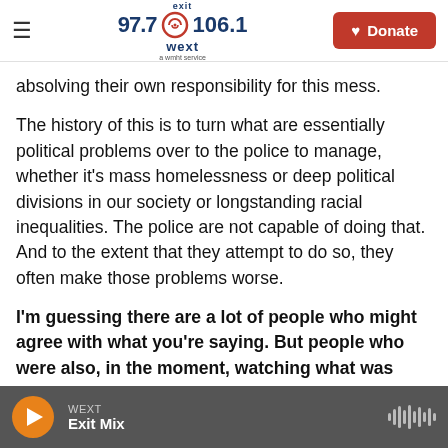exit 97.7 106.1 wext — Donate
absolving their own responsibility for this mess.
The history of this is to turn what are essentially political problems over to the police to manage, whether it's mass homelessness or deep political divisions in our society or longstanding racial inequalities. The police are not capable of doing that. And to the extent that they attempt to do so, they often make those problems worse.
I'm guessing there are a lot of people who might agree with what you're saying. But people who were also, in the moment, watching what was
WEXT Exit Mix